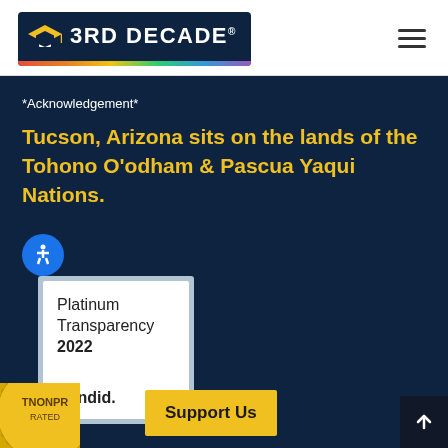[Figure (logo): 3RD DECADE logo with graduation cap icon on dark navy background with rainbow gradient strip at bottom]
*Acknowledgement*
Tucson, Arizona sits on the lands of the Tohono O'odham & Pascua Yaqui Nations.
[Figure (other): Candid Platinum Transparency 2022 badge with inner white box]
[Figure (other): Partial gold nonprofit seal visible at bottom left]
Support Us
[Figure (other): Scroll to top arrow button at bottom right]